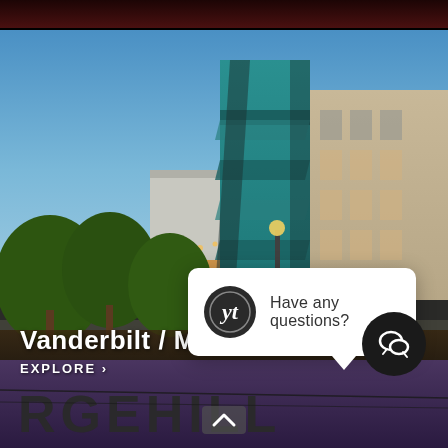[Figure (photo): Aerial/street view of a modern apartment building with teal and tan facades at dusk, with trees and warm lights in foreground. Nashville Vanderbilt/Midtown area.]
Vanderbilt / Midtown
EXPLORE >
[Figure (screenshot): Chat popup widget with circular logo showing stylized 'yi' monogram and text 'Have any questions?']
[Figure (photo): Bottom section showing partial view of a sign reading 'RGEHILL' against a purple-tinted background, with a dark chat button icon and an up-chevron arrow.]